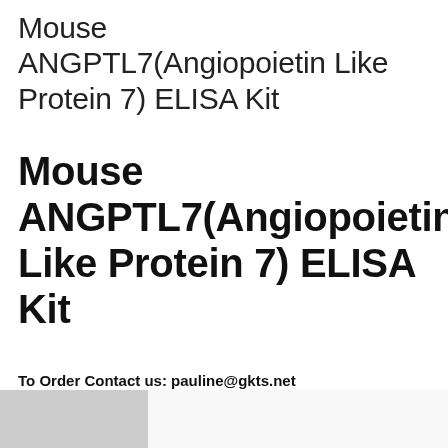Mouse ANGPTL7(Angiopoietin Like Protein 7) ELISA Kit
Mouse ANGPTL7(Angiopoietin Like Protein 7) ELISA Kit
To Order Contact us: pauline@gkts.net